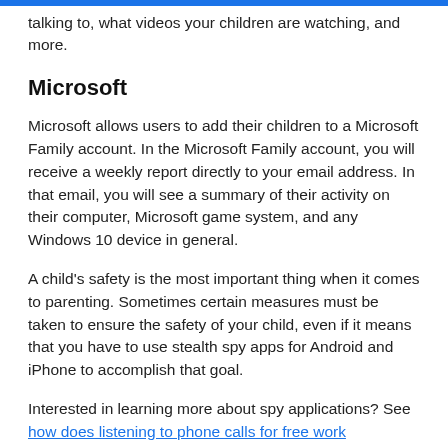talking to, what videos your children are watching, and more.
Microsoft
Microsoft allows users to add their children to a Microsoft Family account. In the Microsoft Family account, you will receive a weekly report directly to your email address. In that email, you will see a summary of their activity on their computer, Microsoft game system, and any Windows 10 device in general.
A child's safety is the most important thing when it comes to parenting. Sometimes certain measures must be taken to ensure the safety of your child, even if it means that you have to use stealth spy apps for Android and iPhone to accomplish that goal.
Interested in learning more about spy applications? See how does listening to phone calls for free work